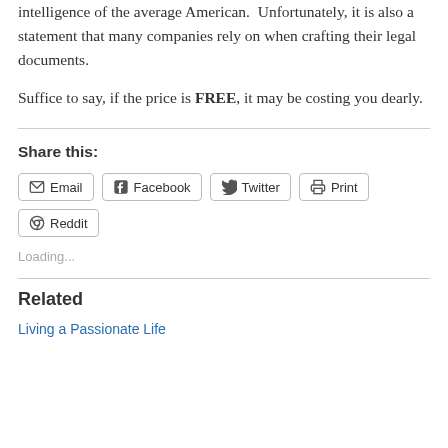intelligence of the average American.  Unfortunately, it is also a statement that many companies rely on when crafting their legal documents.
Suffice to say, if the price is FREE, it may be costing you dearly.
Share this:
Email  Facebook  Twitter  Print  Reddit
Loading...
Related
Living a Passionate Life